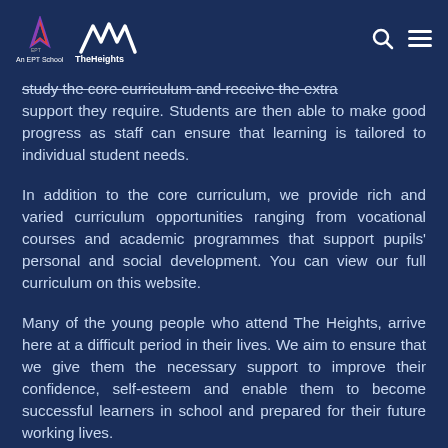An EPT School | The Heights | [search] [menu]
study the core curriculum and receive the extra support they require. Students are then able to make good progress as staff can ensure that learning is tailored to individual student needs.
In addition to the core curriculum, we provide rich and varied curriculum opportunities ranging from vocational courses and academic programmes that support pupils' personal and social development. You can view our full curriculum on this website.
Many of the young people who attend The Heights, arrive here at a difficult period in their lives. We aim to ensure that we give them the necessary support to improve their confidence, self-esteem and enable them to become successful learners in school and prepared for their future working lives.